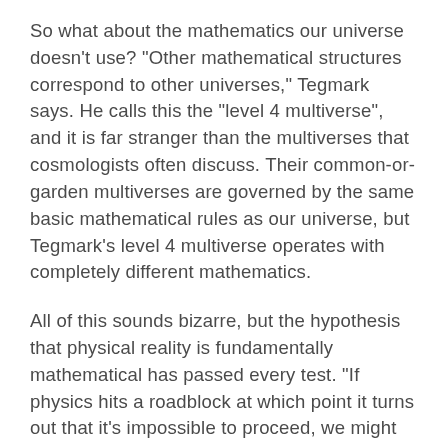So what about the mathematics our universe doesn't use? "Other mathematical structures correspond to other universes," Tegmark says. He calls this the "level 4 multiverse", and it is far stranger than the multiverses that cosmologists often discuss. Their common-or-garden multiverses are governed by the same basic mathematical rules as our universe, but Tegmark's level 4 multiverse operates with completely different mathematics.
All of this sounds bizarre, but the hypothesis that physical reality is fundamentally mathematical has passed every test. "If physics hits a roadblock at which point it turns out that it's impossible to proceed, we might find that nature can't be captured mathematically," Tegmark says. "But it's really remarkable that that hasn't happened. Galileo said that the book of nature was written in the language of mathematics - and that was 400 years ago."